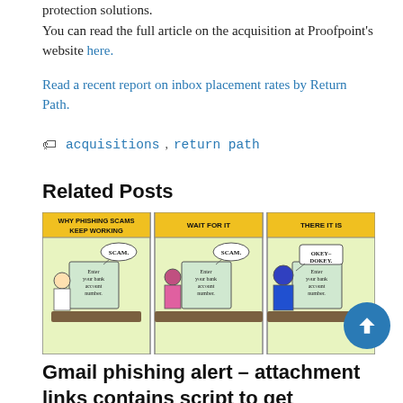protection solutions. You can read the full article on the acquisition at Proofpoint's website here.
Read a recent report on inbox placement rates by Return Path.
acquisitions, return path
Related Posts
[Figure (illustration): Three-panel Dilbert comic strip about phishing scams. Panel 1 header: WHY PHISHING SCAMS KEEP WORKING – shows a character at a computer with 'Enter your bank account number.' and a thought bubble 'SCAM.' Panel 2 header: WAIT FOR IT – same computer prompt, person thinking 'SCAM.' Panel 3 header: THERE IT IS – same prompt, person responds 'OKEY-DOKEY.']
Gmail phishing alert – attachment links contains script to get credentials
January 10, 2017